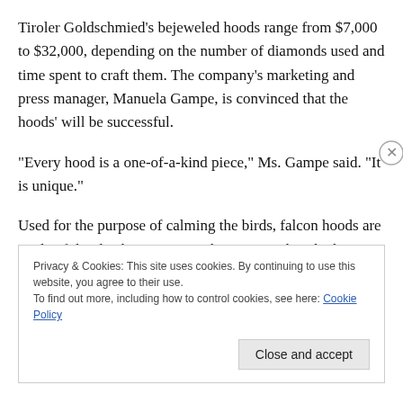Tiroler Goldschmied's bejeweled hoods range from $7,000 to $32,000, depending on the number of diamonds used and time spent to craft them. The company's marketing and press manager, Manuela Gampe, is convinced that the hoods' will be successful.
“Every hood is a one-of-a-kind piece,” Ms. Gampe said. “It is unique.”
Used for the purpose of calming the birds, falcon hoods are made of thin leather, not more than 0.04 inches thick.
Privacy & Cookies: This site uses cookies. By continuing to use this website, you agree to their use.
To find out more, including how to control cookies, see here: Cookie Policy